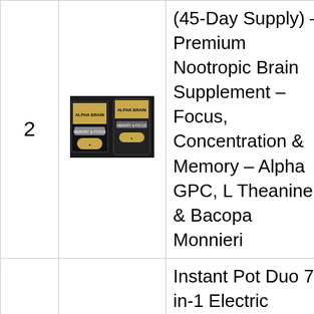| Rank | Image | Product Name | Score |
| --- | --- | --- | --- |
| 2 | [Alpha Brain image] | (45-Day Supply) – Premium Nootropic Brain Supplement – Focus, Concentration & Memory – Alpha GPC, L Theanine & Bacopa Monnieri | 9.78 |
| 3 | [Instant Pot image] | Instant Pot Duo 7-in-1 Electric Pressure Cooker, Slow Cooker, Rice Cooker, Steamer, Sauté, Yogurt Maker, Warmer & | 9.36 |